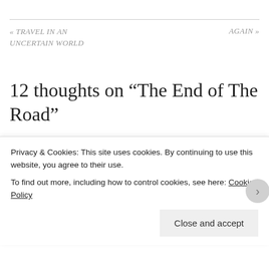« TRAVEL IN AN UNCERTAIN WORLD
AGAIN »
12 thoughts on “The End of The Road”
Mama Writes Reviews says:
November 7, 2017 at 4:00 pm
Aw, such a sweet post. My youngest weaned himself right at 18 months despite my trying to keep him going for an extra
Privacy & Cookies: This site uses cookies. By continuing to use this website, you agree to their use.
To find out more, including how to control cookies, see here: Cookie Policy
Close and accept